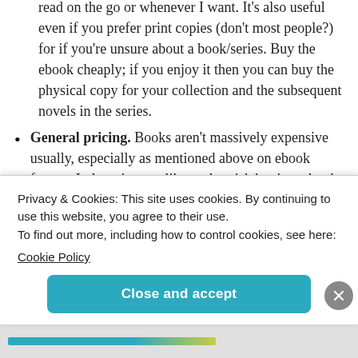read on the go or whenever I want. It's also useful even if you prefer print copies (don't most people?) for if you're unsure about a book/series. Buy the ebook cheaply; if you enjoy it then you can buy the physical copy for your collection and the subsequent novels in the series.
General pricing. Books aren't massively expensive usually, especially as mentioned above on ebook format. It doesn't seem like such a risk buying a book because it's not going to bankrupt you. It's
Privacy & Cookies: This site uses cookies. By continuing to use this website, you agree to their use.
To find out more, including how to control cookies, see here:
Cookie Policy
Close and accept